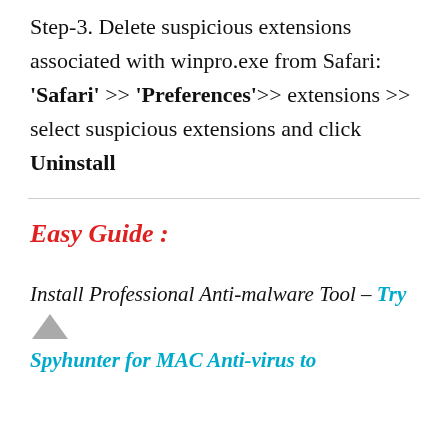Step-3. Delete suspicious extensions associated with winpro.exe from Safari: 'Safari' >> 'Preferences'>> extensions >> select suspicious extensions and click Uninstall
Easy Guide :
Install Professional Anti-malware Tool – Try Spyhunter for MAC Anti-virus to